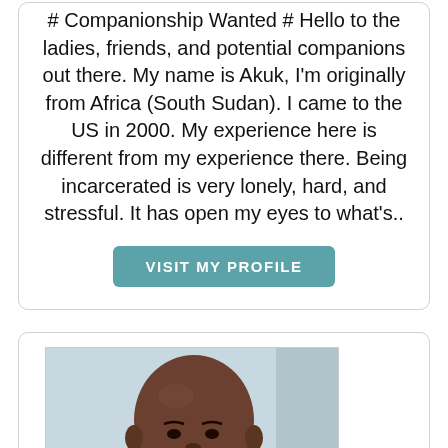# Companionship Wanted # Hello to the ladies, friends, and potential companions out there. My name is Akuk, I'm originally from Africa (South Sudan). I came to the US in 2000. My experience here is different from my experience there. Being incarcerated is very lonely, hard, and stressful. It has open my eyes to what's..
VISIT MY PROFILE
[Figure (photo): Headshot photo of a bald African American man with a beard, looking at the camera, light blue background behind him.]